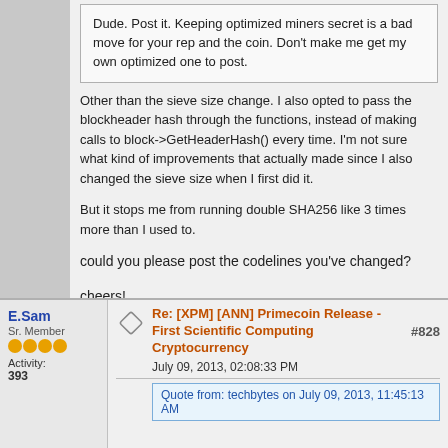Dude. Post it. Keeping optimized miners secret is a bad move for your rep and the coin. Don't make me get my own optimized one to post.
Other than the sieve size change. I also opted to pass the blockheader hash through the functions, instead of making calls to block->GetHeaderHash() every time. I'm not sure what kind of improvements that actually made since I also changed the sieve size when I first did it.
But it stops me from running double SHA256 like 3 times more than I used to.
could you please post the codelines you've changed?
cheers!
I'd like to thank eduffield and the other developers for this critically important evolution in virtual currency. DarkCoin is what bitcoin should have been. Some might call it "Bitcoin 2.0"
E.Sam
Sr. Member
Activity:
393
Re: [XPM] [ANN] Primecoin Release - First Scientific Computing Cryptocurrency
#828
July 09, 2013, 02:08:33 PM
Quote from: techbytes on July 09, 2013, 11:45:13 AM